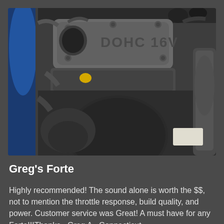[Figure (photo): Close-up photo of a DOHC 16V engine (Kia Forte engine bay), showing the gray engine valve cover with 'DOHC 16V' lettering, blue engine components on the left, intake pipes, hoses, and engine bay details.]
Greg's Forte
Highly recommended! The sound alone is worth the $$, not to mention the throttle response, build quality, and power. Customer service was Great! A must have for any Forte!!!Thanks,~Greg A., Connecticut